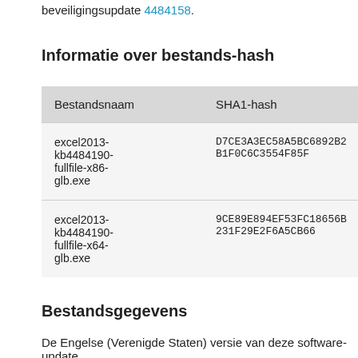beveiligingsupdate 4484158.
Informatie over bestands-hash
| Bestandsnaam | SHA1-hash |
| --- | --- |
| excel2013-kb4484190-fullfile-x86-glb.exe | D7CE3A3EC58A5BC6892B2B1F0C6C3554F85F... |
| excel2013-kb4484190-fullfile-x64-glb.exe | 9CE89E894EF53FC18656B231F29E2F6A5CB66... |
Bestandsgegevens
De Engelse (Verenigde Staten) versie van deze software-update...